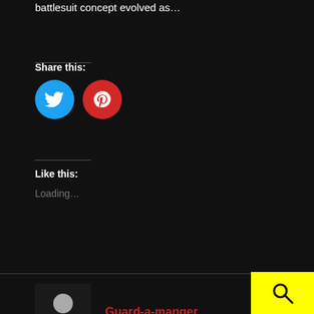battlesuit concept evolved as…
Share this:
[Figure (illustration): Twitter bird icon (blue circle) and Pinterest P icon (red circle) as social share buttons]
Like this:
Loading…
[Figure (photo): Black and white avatar photo of a person]
Guard-a-manger
1 Reply
[Figure (illustration): Yellow search button with magnifying glass icon in bottom right corner]